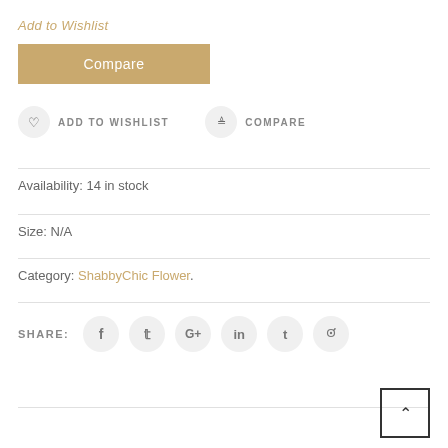Add to Wishlist
Compare
ADD TO WISHLIST
COMPARE
Availability: 14 in stock
Size: N/A
Category: ShabbyChic Flower.
SHARE: